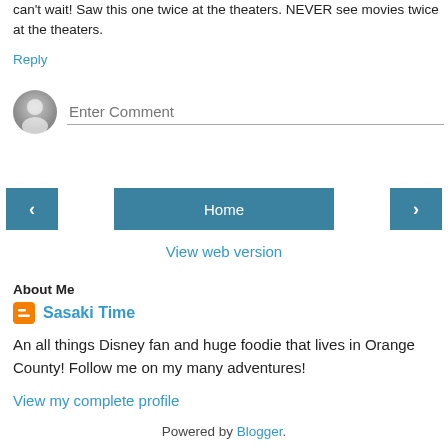can't wait! Saw this one twice at the theaters. NEVER see movies twice at the theaters.
Reply
[Figure (other): Comment input area with default avatar circle and 'Enter Comment' placeholder text field]
[Figure (other): Navigation buttons: left arrow, Home, right arrow]
View web version
About Me
Sasaki Time
An all things Disney fan and huge foodie that lives in Orange County! Follow me on my many adventures!
View my complete profile
Powered by Blogger.